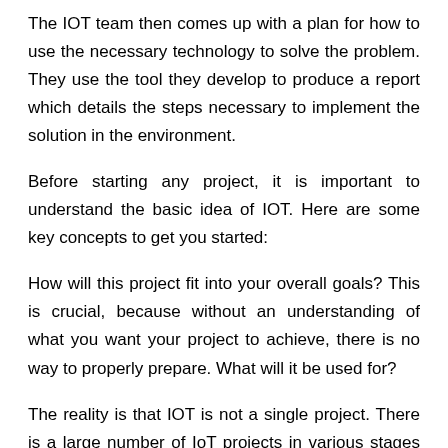The IOT team then comes up with a plan for how to use the necessary technology to solve the problem. They use the tool they develop to produce a report which details the steps necessary to implement the solution in the environment.
Before starting any project, it is important to understand the basic idea of IOT. Here are some key concepts to get you started:
How will this project fit into your overall goals? This is crucial, because without an understanding of what you want your project to achieve, there is no way to properly prepare. What will it be used for?
The reality is that IOT is not a single project. There is a large number of IoT projects in various stages of development.
How are the examples from that taken care of…